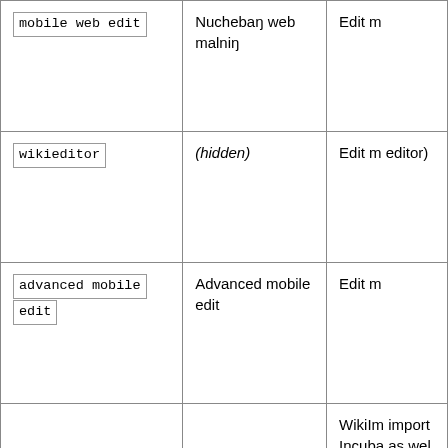| mobile web edit | Nuchebaŋ web malniŋ | Edit m… |
| wikieditor | (hidden) | Edit m… editor) |
| advanced mobile edit | Advanced mobile edit | Edit m… |
| OAuth CID: 2209 | WikiImporter [1.3] | WikiIm… import… Incuba… as wel… interw… pages… exist t… an int… |